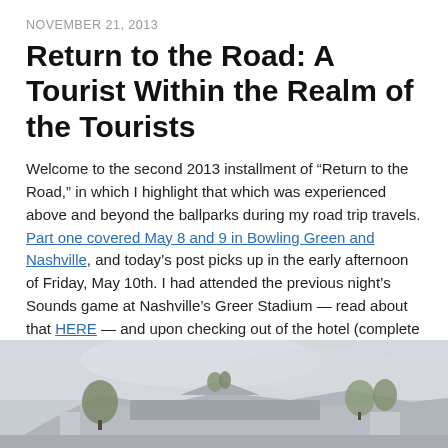NOVEMBER 21, 2013
Return to the Road: A Tourist Within the Realm of the Tourists
Welcome to the second 2013 installment of “Return to the Road,” in which I highlight that which was experienced above and beyond the ballparks during my road trip travels. Part one covered May 8 and 9 in Bowling Green and Nashville, and today’s post picks up in the early afternoon of Friday, May 10th. I had attended the previous night’s Sounds game at Nashville’s Greer Stadium — read about that HERE — and upon checking out of the hotel (complete with Road Trip Hotel Room Review #2) I made my way back to the area surrounding the ballpark.
My destination was Gabby’s Burgers, an unassuming but very well-regarded burger joint located the proverbial hop, skip, and jump away from Greer.
[Figure (photo): Exterior photo of Gabby's Burgers building, a low structure with a sign, photographed against an overcast sky with some trees visible.]